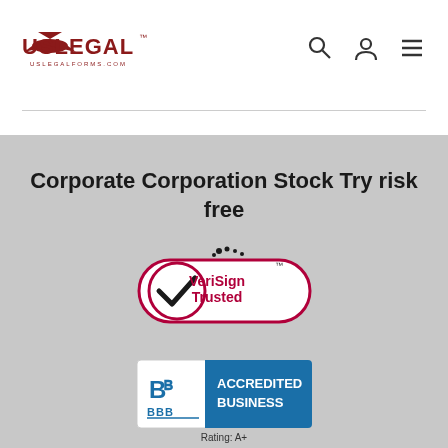[Figure (logo): USLegal logo with eagle and uslegalforms.com text]
[Figure (logo): Navigation icons: search, user, hamburger menu]
Corporate Corporation Stock Try risk free
[Figure (logo): VeriSign Trusted badge with checkmark in red circle]
[Figure (logo): BBB Accredited Business badge with Rating: A+]
Rating: A+